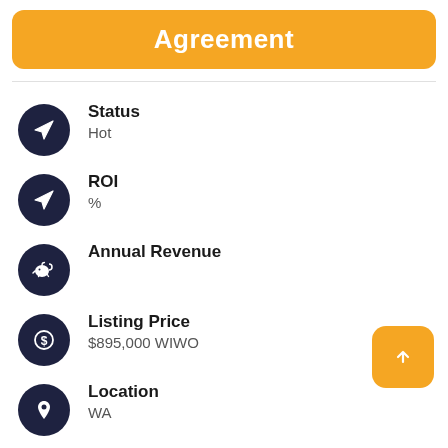Agreement
Status: Hot
ROI: %
Annual Revenue
Listing Price: $895,000 WIWO
Location: WA
Industry